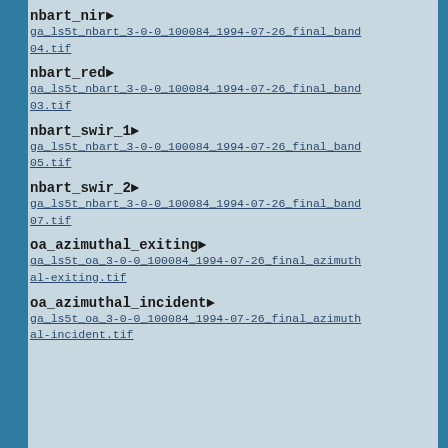nbart_nir ▶
ga_ls5t_nbart_3-0-0_100084_1994-07-26_final_band04.tif
nbart_red ▶
ga_ls5t_nbart_3-0-0_100084_1994-07-26_final_band03.tif
nbart_swir_1 ▶
ga_ls5t_nbart_3-0-0_100084_1994-07-26_final_band05.tif
nbart_swir_2 ▶
ga_ls5t_nbart_3-0-0_100084_1994-07-26_final_band07.tif
oa_azimuthal_exiting ▶
ga_ls5t_oa_3-0-0_100084_1994-07-26_final_azimuthal-exiting.tif
oa_azimuthal_incident ▶
ga_ls5t_oa_3-0-0_100084_1994-07-26_final_azimuthal-incident.tif